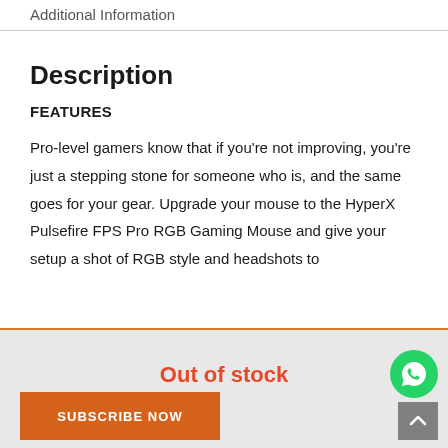Additional Information
Description
FEATURES
Pro-level gamers know that if you're not improving, you're just a stepping stone for someone who is, and the same goes for your gear. Upgrade your mouse to the HyperX Pulsefire FPS Pro RGB Gaming Mouse and give your setup a shot of RGB style and headshots to
Out of stock
SUBSCRIBE NOW